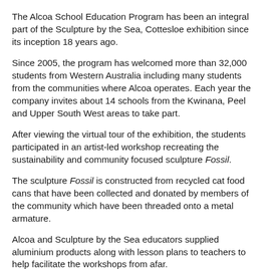The Alcoa School Education Program has been an integral part of the Sculpture by the Sea, Cottesloe exhibition since its inception 18 years ago.
Since 2005, the program has welcomed more than 32,000 students from Western Australia including many students from the communities where Alcoa operates. Each year the company invites about 14 schools from the Kwinana, Peel and Upper South West areas to take part.
After viewing the virtual tour of the exhibition, the students participated in an artist-led workshop recreating the sustainability and community focused sculpture Fossil.
The sculpture Fossil is constructed from recycled cat food cans that have been collected and donated by members of the community which have been threaded onto a metal armature.
Alcoa and Sculpture by the Sea educators supplied aluminium products along with lesson plans to teachers to help facilitate the workshops from afar.
Pinjarra teacher Robyn Willers said the program provided students with a unique opportunity to meet and work with a professional exhibiting artist and extend learning beyond the classroom.